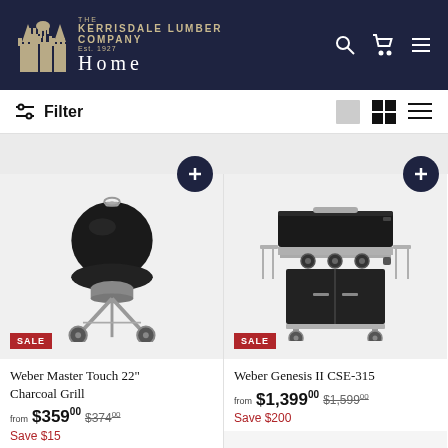The Kerrisdale Lumber Company Est. 1927 Home
Filter
[Figure (photo): Weber Master Touch 22" Charcoal Grill product image on light grey background with SALE badge]
Weber Master Touch 22" Charcoal Grill
from $35900 $37400
Save $15
[Figure (photo): Weber Genesis II CSE-315 gas grill product image on light grey background with SALE badge]
Weber Genesis II CSE-315
from $1,39900 $1,59900
Save $200